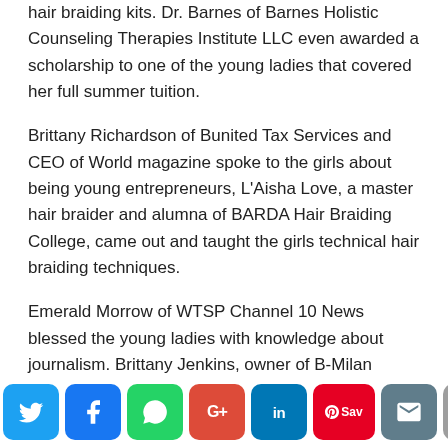hair braiding kits. Dr. Barnes of Barnes Holistic Counseling Therapies Institute LLC even awarded a scholarship to one of the young ladies that covered her full summer tuition.
Brittany Richardson of Bunited Tax Services and CEO of World magazine spoke to the girls about being young entrepreneurs, L'Aisha Love, a master hair braider and alumna of BARDA Hair Braiding College, came out and taught the girls technical hair braiding techniques.
Emerald Morrow of WTSP Channel 10 News blessed the young ladies with knowledge about journalism. Brittany Jenkins, owner of B-Milan Salon came out and spoke to the girls about being a young salon owner, and Cynthia
[Figure (other): Social media sharing bar with buttons for Twitter, Facebook, WhatsApp, Google+, LinkedIn, Pinterest/Save, Email, Print, and a scroll-up button.]